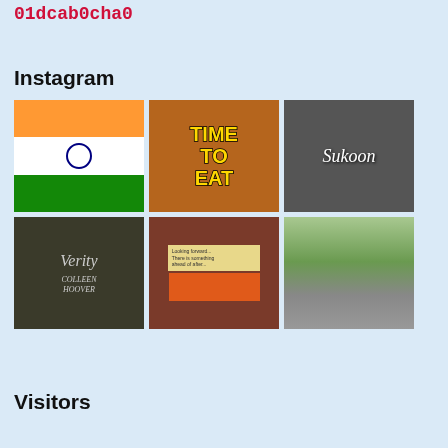01dcab0cha0
Instagram
[Figure (photo): Indian national flag waving, saffron/white/green tricolor with blue Ashoka Chakra]
[Figure (photo): Yellow and black bold text reading TIME TO EAT on a food package background]
[Figure (photo): Black and white photo of rain on glass with cursive script text 'Sukoon']
[Figure (photo): Book titled 'Verity' by Colleen Hoover on a Kindle and print copy, with plants in background]
[Figure (photo): Takeaway box with sticky note message and colorful artwork below it]
[Figure (photo): Tree-lined road in green overcast weather]
Visitors